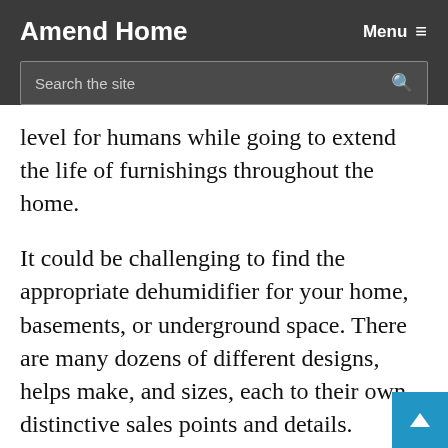Amend Home   Menu ≡
level for humans while going to extend the life of furnishings throughout the home.
It could be challenging to find the appropriate dehumidifier for your home, basements, or underground space. There are many dozens of different designs, helps make, and sizes, each to their own distinctive sales points and details.
After the decision to buy a dehumidifier, you should perform research and gain information